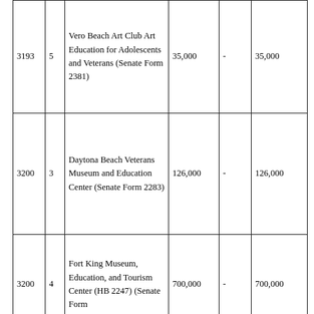| 3193 | 5 | Vero Beach Art Club Art Education for Adolescents and Veterans (Senate Form 2381) | 35,000 | - | 35,000 |
| 3200 | 3 | Daytona Beach Veterans Museum and Education Center (Senate Form 2283) | 126,000 | - | 126,000 |
| 3200 | 4 | Fort King Museum, Education, and Tourism Center (HB 2247) (Senate Form ... | 700,000 | - | 700,000 |